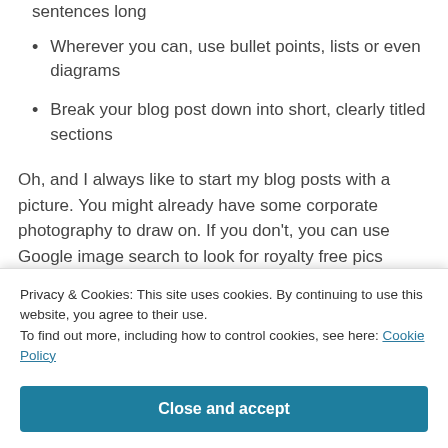sentences long
Wherever you can, use bullet points, lists or even diagrams
Break your blog post down into short, clearly titled sections
Oh, and I always like to start my blog posts with a picture. You might already have some corporate photography to draw on. If you don't, you can use Google image search to look for royalty free pics (using Google / Images / More tools to filter for them) or
Privacy & Cookies: This site uses cookies. By continuing to use this website, you agree to their use.
To find out more, including how to control cookies, see here: Cookie Policy
Close and accept